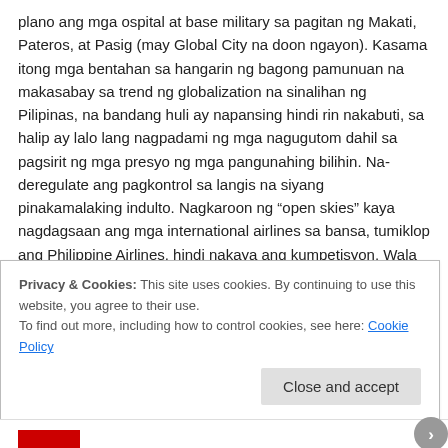plano ang mga ospital at base military sa pagitan ng Makati, Pateros, at Pasig (may Global City na doon ngayon). Kasama itong mga bentahan sa hangarin ng bagong pamunuan na makasabay sa trend ng globalization na sinalihan ng Pilipinas, na bandang huli ay napansing hindi rin nakabuti, sa halip ay lalo lang nagpadami ng mga nagugutom dahil sa pagsirit ng mga presyo ng mga pangunahing bilihin. Na-deregulate ang pagkontrol sa langis na siyang pinakamalaking indulto. Nagkaroon ng “open skies” kaya nagdagsaan ang mga international airlines sa bansa, tumiklop ang Philippine Airlines, hindi nakaya ang kumpetisyon. Wala ring nagawang mga konkretong proyekto para sa bansa, ang mga korapsyon lalong namayagpag daw, komisyunang kaliwa’t kanan sa pagbenta ng mga propredad ng bansa – unang pagkanulo sa soberinya pang-ekonomiya ng Pilipinas.
Privacy & Cookies: This site uses cookies. By continuing to use this website, you agree to their use.
To find out more, including how to control cookies, see here: Cookie Policy
Close and accept